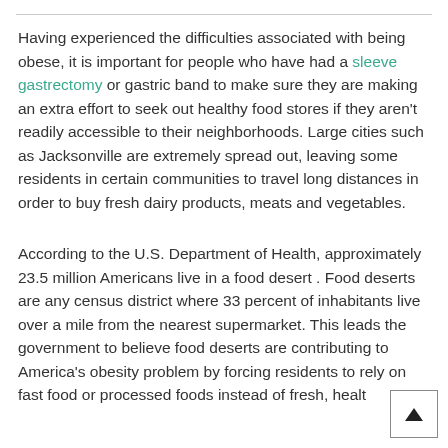Having experienced the difficulties associated with being obese, it is important for people who have had a sleeve gastrectomy or gastric band to make sure they are making an extra effort to seek out healthy food stores if they aren't readily accessible to their neighborhoods. Large cities such as Jacksonville are extremely spread out, leaving some residents in certain communities to travel long distances in order to buy fresh dairy products, meats and vegetables.
According to the U.S. Department of Health, approximately 23.5 million Americans live in a food desert . Food deserts are any census district where 33 percent of inhabitants live over a mile from the nearest supermarket. This leads the government to believe food deserts are contributing to America's obesity problem by forcing residents to rely on fast food or processed foods instead of fresh, healt...